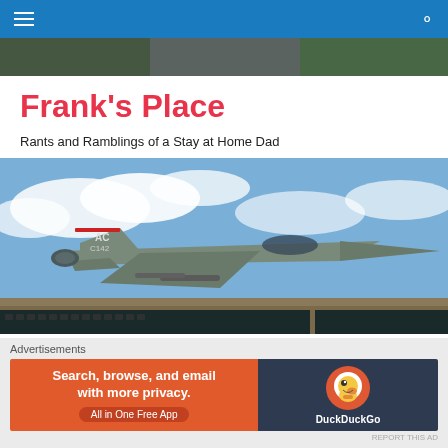Frank's Place – navigation bar
[Figure (photo): Header strip showing partial photos]
Frank's Place
Rants and Ramblings of a Stay at Home Dad
[Figure (photo): F-16 fighter jet (AC 142) flying with clouds and landscape below]
TAGGED WITH LEFT WING MEDIA BIAS
Decision 2012! – Media &
[Figure (screenshot): DuckDuckGo advertisement banner: Search, browse, and email with more privacy. All in One Free App.]